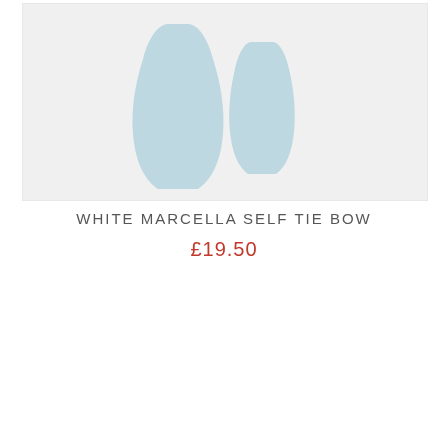[Figure (photo): Two light blue/pale sky bow tie pieces displayed against a light grey background — one larger bow shape on the left and one smaller rectangular piece on the right, both in a pale blue-grey fabric.]
WHITE MARCELLA SELF TIE BOW
£19.50